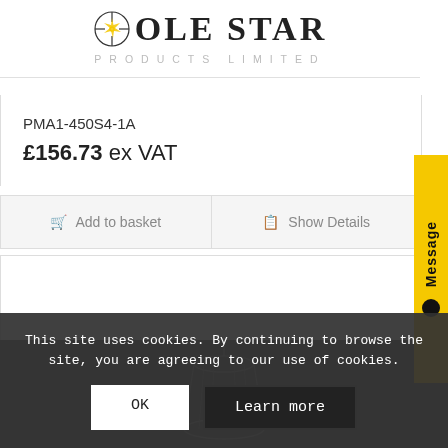[Figure (logo): Pole Star Products Limited logo with star icon and company name in serif font, subtitle in spaced sans-serif]
PMA1-450S4-1A
£156.73 ex VAT
Add to basket
Show Details
[Figure (illustration): Message tab/widget on right side, yellow background with vertical 'Message' text and chat icon]
[Figure (photo): Product image (dark background with wire frame lamp/lantern) partially visible behind cookie banner]
This site uses cookies. By continuing to browse the site, you are agreeing to our use of cookies.
OK
Learn more